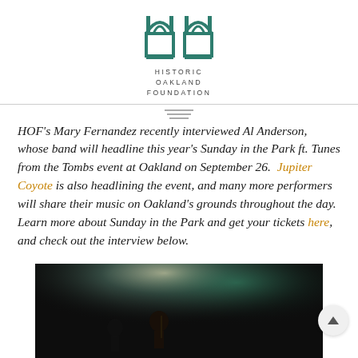[Figure (logo): Historic Oakland Foundation logo — two arch-shaped green icons with text HISTORIC OAKLAND FOUNDATION below]
HOF's Mary Fernandez recently interviewed Al Anderson, whose band will headline this year's Sunday in the Park ft. Tunes from the Tombs event at Oakland on September 26. Jupiter Coyote is also headlining the event, and many more performers will share their music on Oakland's grounds throughout the day. Learn more about Sunday in the Park and get your tickets here, and check out the interview below.
[Figure (photo): Concert photo showing performers on stage with spotlight and green stage lighting in a dark venue]